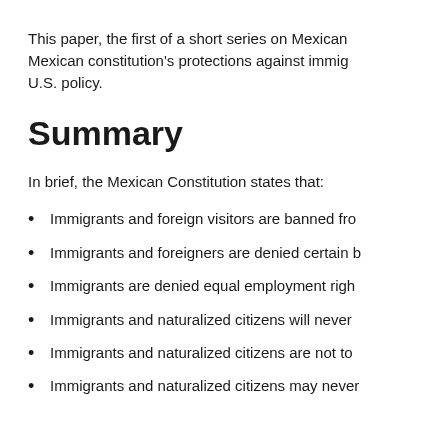This paper, the first of a short series on Mexican constitution's protections against immig U.S. policy.
Summary
In brief, the Mexican Constitution states that:
Immigrants and foreign visitors are banned fro
Immigrants and foreigners are denied certain b
Immigrants are denied equal employment righ
Immigrants and naturalized citizens will never
Immigrants and naturalized citizens are not to
Immigrants and naturalized citizens may never